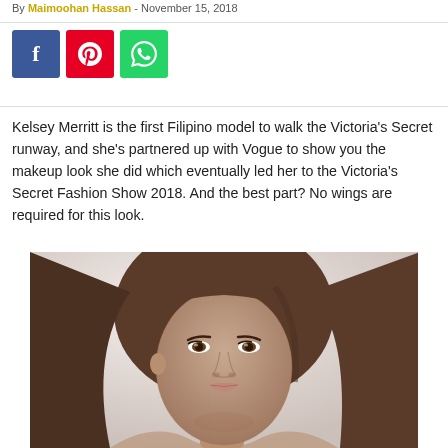By Maimoohan Hassan - November 15, 2018
[Figure (other): Social share buttons: Facebook (blue), Pinterest (red), WhatsApp (green)]
Kelsey Merritt is the first Filipino model to walk the Victoria's Secret runway, and she's partnered up with Vogue to show you the makeup look she did which eventually led her to the Victoria's Secret Fashion Show 2018. And the best part? No wings are required for this look.
[Figure (photo): Portrait photo of Kelsey Merritt, a young woman with long brown hair, looking to the side with a subtle expression, light background.]